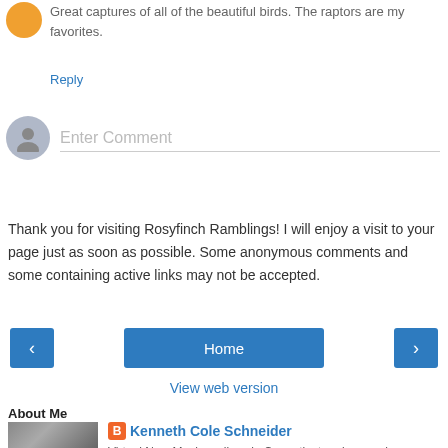Great captures of all of the beautiful birds. The raptors are my favorites.
Reply
Enter Comment
Thank you for visiting Rosyfinch Ramblings! I will enjoy a visit to your page just as soon as possible. Some anonymous comments and some containing active links may not be accepted.
Home
View web version
About Me
Kenneth Cole Schneider
Virtual New Mexican, lives in Conneticut and remembers growing up, birding and practicing family